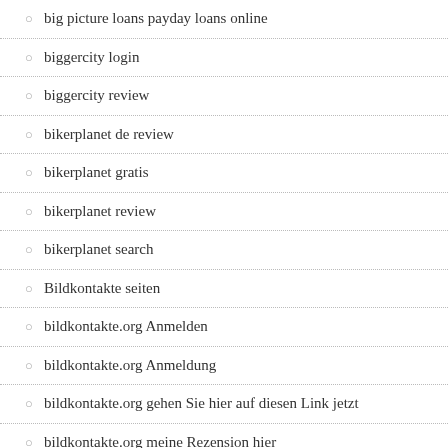big picture loans payday loans online
biggercity login
biggercity review
bikerplanet de review
bikerplanet gratis
bikerplanet review
bikerplanet search
Bildkontakte seiten
bildkontakte.org Anmelden
bildkontakte.org Anmeldung
bildkontakte.org gehen Sie hier auf diesen Link jetzt
bildkontakte.org meine Rezension hier